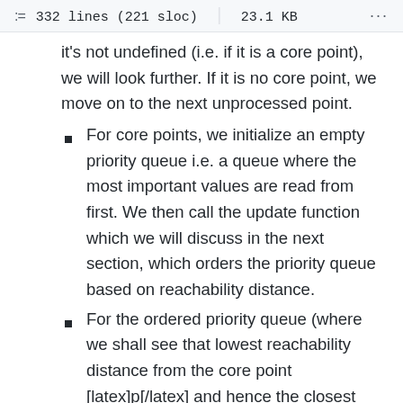332 lines (221 sloc)  |  23.1 KB
it's not undefined (i.e. if it is a core point), we will look further. If it is no core point, we move on to the next unprocessed point.
For core points, we initialize an empty priority queue i.e. a queue where the most important values are read from first. We then call the update function which we will discuss in the next section, which orders the priority queue based on reachability distance.
For the ordered priority queue (where we shall see that lowest reachability distance from the core point [latex]p[/latex] and hence the closest points are covered first), for